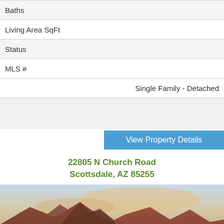| Baths |  |
| Living Area SqFt |  |
| Status |  |
| MLS # |  |
|  | Single Family - Detached |
View Property Details
22805 N Church Road
Scottsdale, AZ 85255
[Figure (photo): Mountain landscape photo showing red/brown mountains under a colorful sunset sky with desert terrain in the foreground near Scottsdale, AZ]